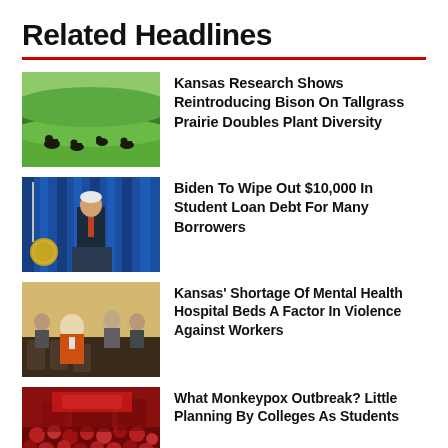Related Headlines
Kansas Research Shows Reintroducing Bison On Tallgrass Prairie Doubles Plant Diversity
Biden To Wipe Out $10,000 In Student Loan Debt For Many Borrowers
Kansas' Shortage Of Mental Health Hospital Beds A Factor In Violence Against Workers
What Monkeypox Outbreak? Little Planning By Colleges As Students